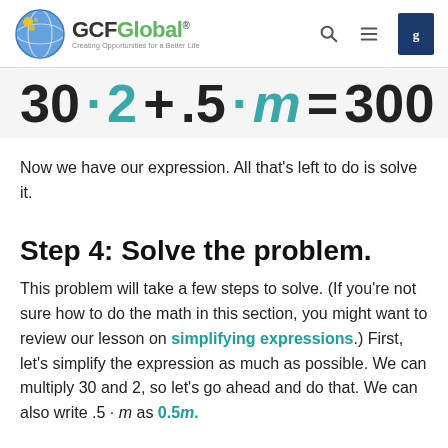GCFGlobal – Creating Opportunities for a Better Life
Now we have our expression. All that's left to do is solve it.
Step 4: Solve the problem.
This problem will take a few steps to solve. (If you're not sure how to do the math in this section, you might want to review our lesson on simplifying expressions.) First, let's simplify the expression as much as possible. We can multiply 30 and 2, so let's go ahead and do that. We can also write .5 · m as 0.5m.